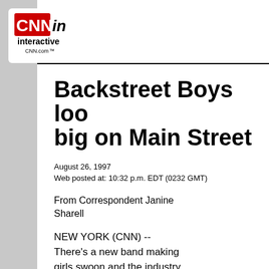[Figure (logo): CNN Interactive logo with red CNN text and black 'in' stylized, 'interactive' text below, CNN.com at bottom]
Backstreet Boys look big on Main Street
August 26, 1997
Web posted at: 10:32 p.m. EDT (0232 GMT)
From Correspondent Janine Sharell
NEW YORK (CNN) -- There's a new band making girls swoon and the industry execs rub their hands together in glee.
The youthful members of the Backstreet B... released only one album, but that one has...